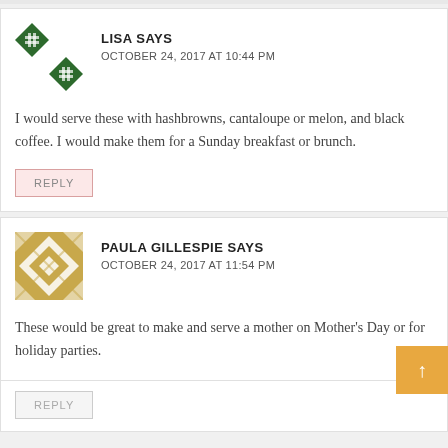LISA SAYS
OCTOBER 24, 2017 AT 10:44 PM
I would serve these with hashbrowns, cantaloupe or melon, and black coffee. I would make them for a Sunday breakfast or brunch.
REPLY
PAULA GILLESPIE SAYS
OCTOBER 24, 2017 AT 11:54 PM
These would be great to make and serve a mother on Mother's Day or for holiday parties.
REPLY